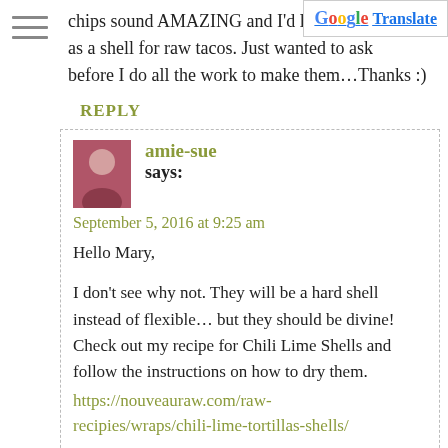chips sound AMAZING and I'd like to as a shell for raw tacos. Just wanted to ask before I do all the work to make them…Thanks :)
REPLY
amie-sue says:
September 5, 2016 at 9:25 am
Hello Mary,
I don't see why not. They will be a hard shell instead of flexible… but they should be divine! Check out my recipe for Chili Lime Shells and follow the instructions on how to dry them. https://nouveauraw.com/raw-recipies/wraps/chili-lime-tortillas-shells/
Let me know how it goes. Blessings, amie sue